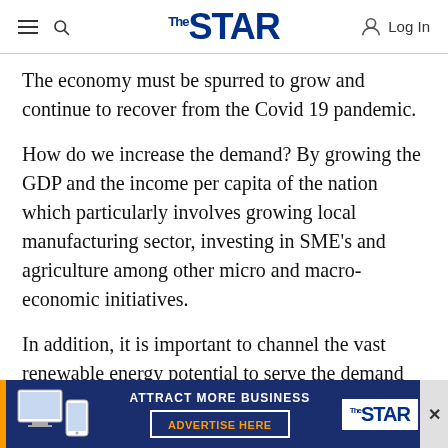THE STAR — navigation bar with hamburger menu, search icon, The Star logo, and Log In button
The economy must be spurred to grow and continue to recover from the Covid 19 pandemic.
How do we increase the demand? By growing the GDP and the income per capita of the nation which particularly involves growing local manufacturing sector, investing in SME's and agriculture among other micro and macro-economic initiatives.
In addition, it is important to channel the vast renewable energy potential to serve the demand
[Figure (screenshot): Advertisement banner for The Star: 'ATTRACT MORE BUSINESS — ADVERTISE HERE' with device mockup images and The Star logo on dark blue background with orange accents.]